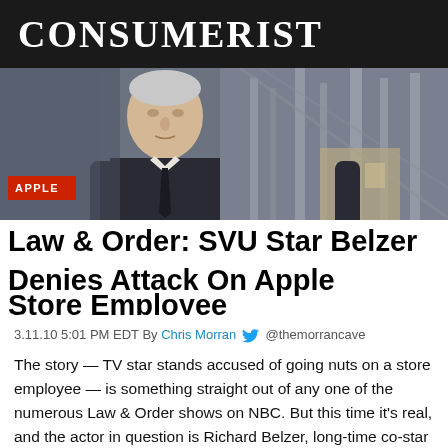CONSUMERIST
[Figure (photo): Hero image showing Richard Belzer, an actor in a dark suit, photographed in front of industrial/urban background. Overlaid with APPLE category tag and article headline.]
Law & Order: SVU Star Belzer Denies Attack On Apple Store Employee
3.11.10 5:01 PM EDT By Chris Morran @themorrancave
The story — TV star stands accused of going nuts on a store employee — is something straight out of any one of the numerous Law & Order shows on NBC. But this time it's real, and the actor in question is Richard Belzer, long-time co-star on Law & Order: Special Victims Unit.